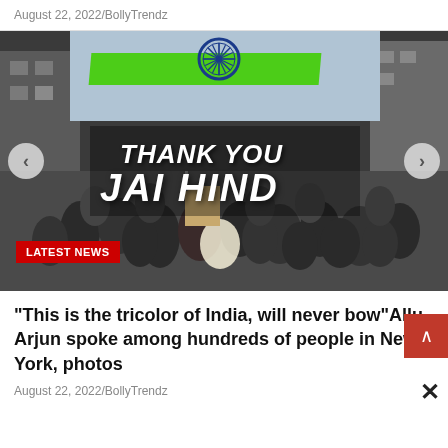August 22, 2022/BollyTrendz
[Figure (photo): A crowd of hundreds of people at what appears to be an outdoor rally or celebration in New York. Text overlay reads 'THANK YOU JAI HIND' in white bold italic font. A green stripe with an Ashoka Chakra is visible at the top. Navigation arrows on left and right sides. A red 'LATEST NEWS' badge appears at the bottom left.]
"This is the tricolor of India, will never bow"Allu Arjun spoke among hundreds of people in New York, photos
August 22, 2022/BollyTrendz